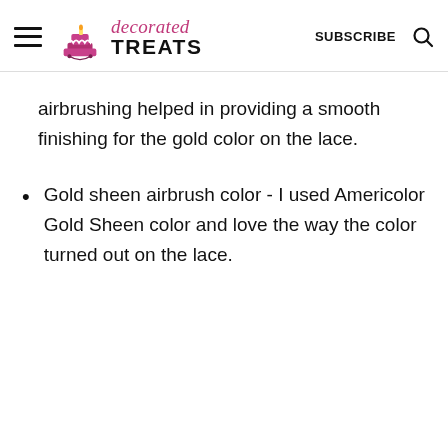decorated TREATS | SUBSCRIBE
airbrushing helped in providing a smooth finishing for the gold color on the lace.
Gold sheen airbrush color - I used Americolor Gold Sheen color and love the way the color turned out on the lace.